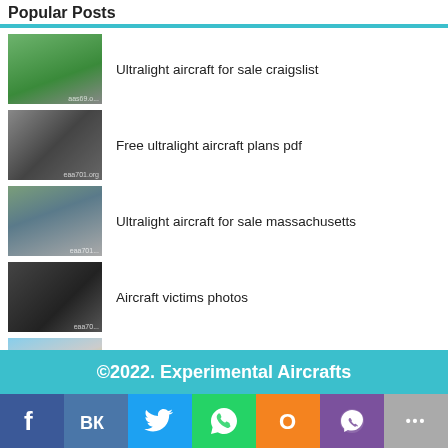Popular Posts
Ultralight aircraft for sale craigslist
Free ultralight aircraft plans pdf
Ultralight aircraft for sale massachusetts
Aircraft victims photos
Ultralight aircraft quicksilver for sale
©2022. Experimental Aircrafts